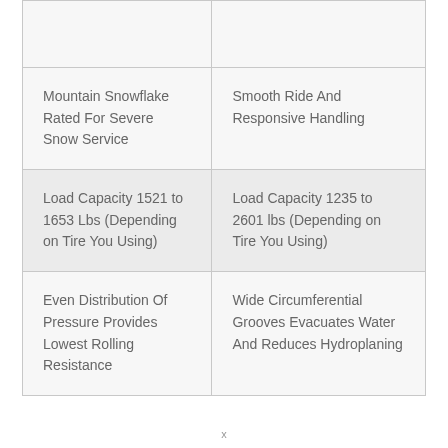|  |  |
| Mountain Snowflake Rated For Severe Snow Service | Smooth Ride And Responsive Handling |
| Load Capacity 1521 to 1653 Lbs (Depending on Tire You Using) | Load Capacity 1235 to 2601 lbs (Depending on Tire You Using) |
| Even Distribution Of Pressure Provides Lowest Rolling Resistance | Wide Circumferential Grooves Evacuates Water And Reduces Hydroplaning |